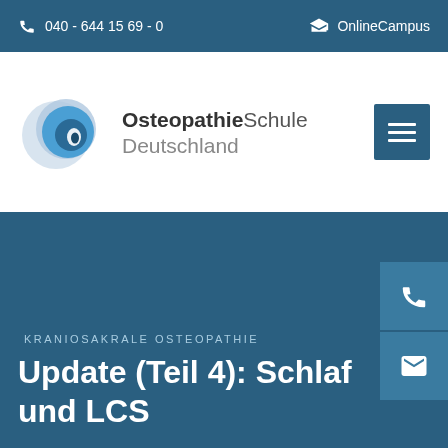040 - 644 15 69 - 0   OnlineCampus
[Figure (logo): OsteopathieSchule Deutschland logo with circular blue graphic and text]
KRANIOSAKRALE OSTEOPATHIE
Update (Teil 4): Schlaf und LCS